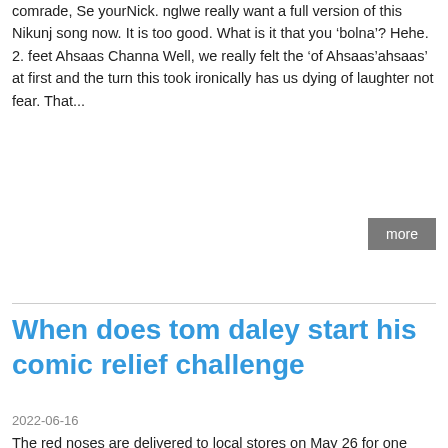comrade, Se yourNick. nglwe really want a full version of this Nikunj song now. It is too good. What is it that you ‘bolna’? Hehe. 2. feet Ahsaas Channa Well, we really felt the ‘of Ahsaas’ahsaas’ at first and the turn this took ironically has us dying of laughter not fear. That...
more
When does tom daley start his comic relief challenge
2022-06-16
The red noses are delivered to local stores on May 26 for one dollar ea with proceeds going to the foundation. What is Red Nose Day? Red Nose Day shines a light on ild poverty and creates a atform to talk about options for providing ildren with health care, education and opportunities to feel empowered, when does tom daley start his comic relief challenge. It is an international effort, taking ace around the world over the course of ea year. In the US, one in six ildren is affected by poverty, whi